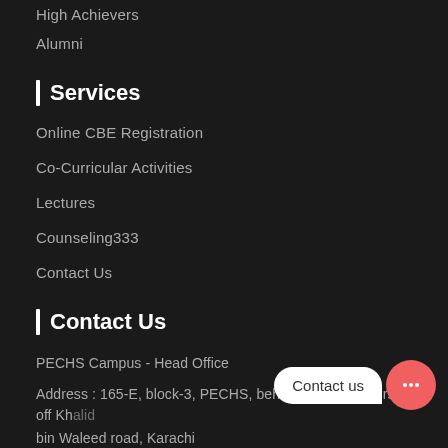High Achievers
Alumni
| Services
Online CBE Registration
Co-Curricular Activities
Lectures
Counseling333
Contact Us
| Contact Us
PECHS Campus - Head Office
Address : 165-E, block-3, PECHS, behind Danish Motors, off Khalid bin Waleed road, Karachi
[Figure (infographic): Contact us chat bubble button with pink circle icon containing three dots]